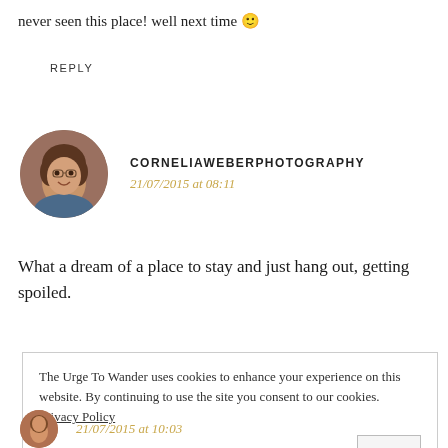never seen this place! well next time 🙂
REPLY
[Figure (photo): Circular avatar photo of a woman with curly brown hair, smiling]
CORNELIAWEBERPHOTOGRAPHY
21/07/2015 at 08:11
What a dream of a place to stay and just hang out, getting spoiled.
The Urge To Wander uses cookies to enhance your experience on this website. By continuing to use the site you consent to our cookies. Privacy Policy
OK
21/07/2015 at 10:03